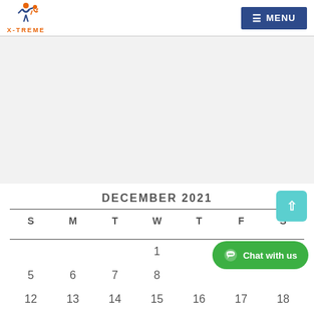X-TREME logo and MENU navigation header
[Figure (other): Gray empty content area (advertisement or banner placeholder)]
DECEMBER 2021
| S | M | T | W | T | F | S |
| --- | --- | --- | --- | --- | --- | --- |
|  |  |  | 1 |  |  |  |
| 5 | 6 | 7 | 8 |  |  |  |
| 12 | 13 | 14 | 15 | 16 | 17 | 18 |